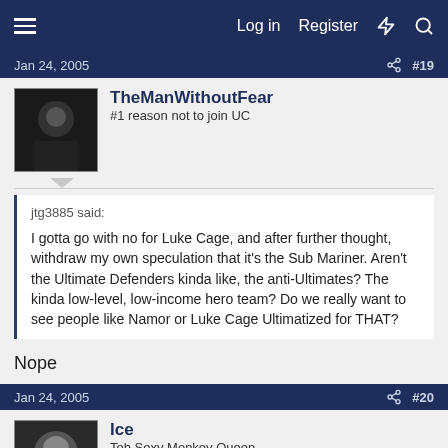Log in  Register
Jan 24, 2005   #19
TheManWithoutFear
#1 reason not to join UC
jtg3885 said:

I gotta go with no for Luke Cage, and after further thought, withdraw my own speculation that it's the Sub Mariner. Aren't the Ultimate Defenders kinda like, the anti-Ultimates? The kinda low-level, low-income hero team? Do we really want to see people like Namor or Luke Cage Ultimatized for THAT?
Nope
Jan 24, 2005   #20
Ice
Teh Sexy Monkey Queen